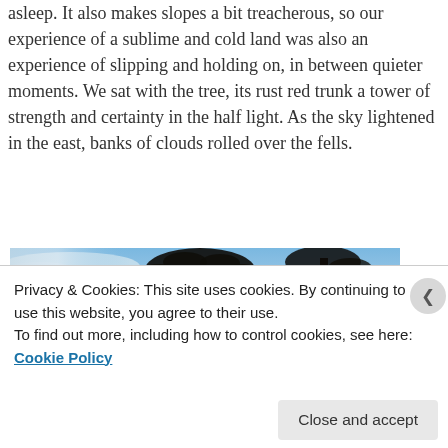asleep. It also makes slopes a bit treacherous, so our experience of a sublime and cold land was also an experience of slipping and holding on, in between quieter moments. We sat with the tree, its rust red trunk a tower of strength and certainty in the half light. As the sky lightened in the east, banks of clouds rolled over the fells.
[Figure (photo): A partial photo showing a tree silhouetted against a blue sky, with branches visible at the top of the image strip.]
Privacy & Cookies: This site uses cookies. By continuing to use this website, you agree to their use.
To find out more, including how to control cookies, see here: Cookie Policy
Close and accept